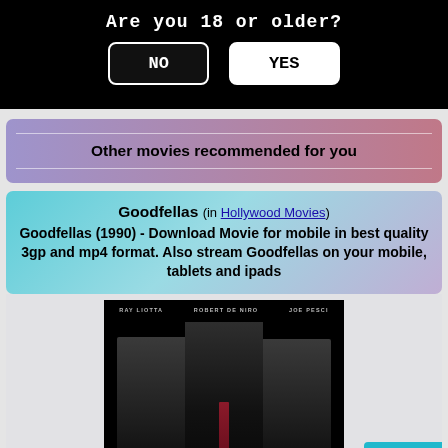Are you 18 or older?
NO
YES
Other movies recommended for you
Goodfellas (in Hollywood Movies)
Goodfellas (1990) - Download Movie for mobile in best quality 3gp and mp4 format. Also stream Goodfellas on your mobile, tablets and ipads
[Figure (photo): Goodfellas movie poster showing Ray Liotta, Robert De Niro, and Joe Pesci in dark suits against a black background]
<<Back